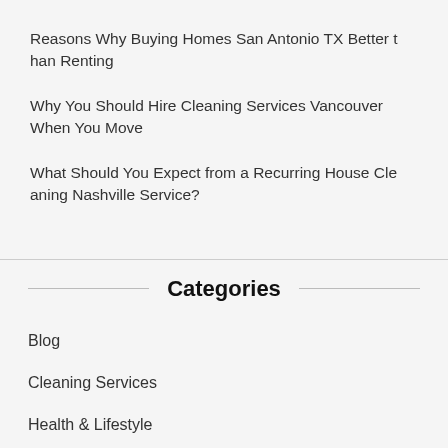Reasons Why Buying Homes San Antonio TX Better than Renting
Why You Should Hire Cleaning Services Vancouver When You Move
What Should You Expect from a Recurring House Cleaning Nashville Service?
Categories
Blog
Cleaning Services
Health & Lifestyle